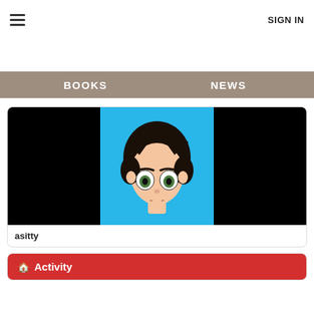≡  SIGN IN
BOOKS  NEWS
[Figure (illustration): Anime-style cartoon boy face with dark spiky hair and green eyes on a blue background, flanked by black panels]
asitty
🏠 Activity